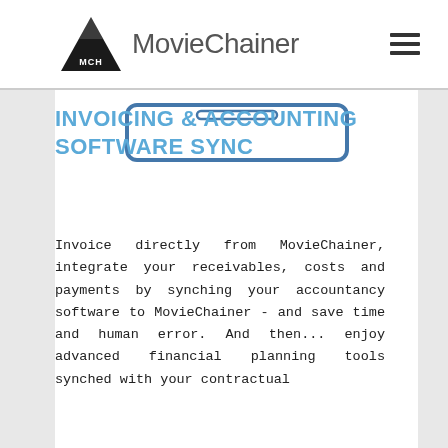MovieChainer
[Figure (illustration): Partial view of a tablet/phone device outline shown at the top of the content area]
INVOICING & ACCOUNTING SOFTWARE SYNC
Invoice directly from MovieChainer, integrate your receivables, costs and payments by synching your accountancy software to MovieChainer - and save time and human error. And then... enjoy advanced financial planning tools synched with your contractual